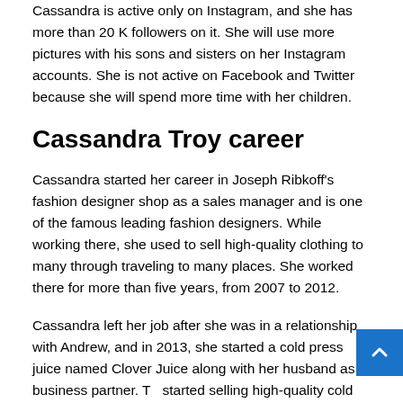Cassandra is active only on Instagram, and she has more than 20 K followers on it. She will use more pictures with his sons and sisters on her Instagram accounts. She is not active on Facebook and Twitter because she will spend more time with her children.
Cassandra Troy career
Cassandra started her career in Joseph Ribkoff's fashion designer shop as a sales manager and is one of the famous leading fashion designers. While working there, she used to sell high-quality clothing to many through traveling to many places. She worked there for more than five years, from 2007 to 2012.
Cassandra left her job after she was in a relationship with Andrew, and in 2013, she started a cold press juice named Clover Juice along with her husband as a business partner. Th started selling high-quality cold press juice and expanded t business into joining her in Los Angeles, California. Thro th